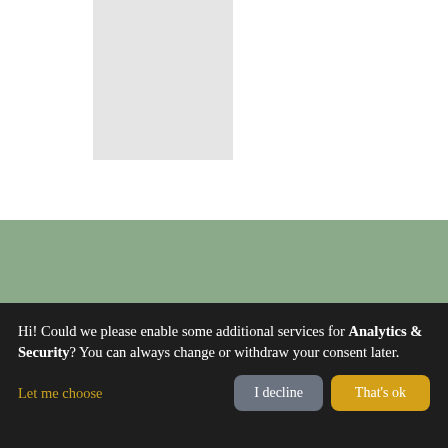[Figure (illustration): Gray rectangle placeholder image on white background]
[Figure (illustration): Sage green banner section with dark four-pointed star icon at left and partial white bold serif text visible at bottom]
Hi! Could we please enable some additional services for Analytics & Security? You can always change or withdraw your consent later.
Let me choose
I decline
That's ok